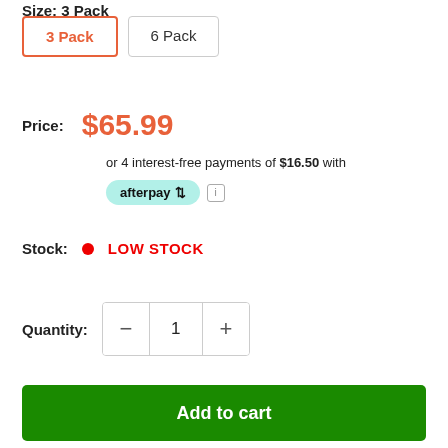Size: 3 Pack
3 Pack
6 Pack
Price: $65.99
or 4 interest-free payments of $16.50 with
[Figure (logo): Afterpay logo badge with teal/mint background and info icon]
Stock: LOW STOCK
Quantity: 1
Add to cart